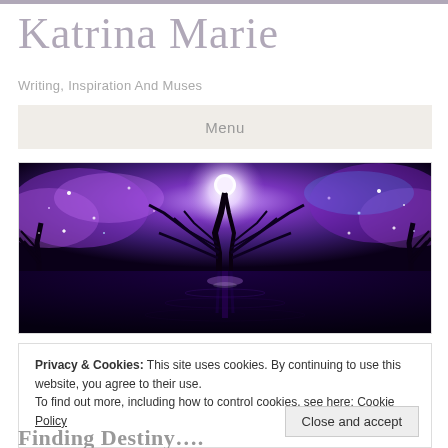Katrina Marie
Writing, Inspiration And Muses
Menu
[Figure (illustration): Fantasy night scene with glowing purple and blue cosmic sky, silhouette of bare trees reflecting on dark water, with sparkling light particles throughout]
Privacy & Cookies: This site uses cookies. By continuing to use this website, you agree to their use.
To find out more, including how to control cookies, see here: Cookie Policy
Close and accept
Finding Destiny….